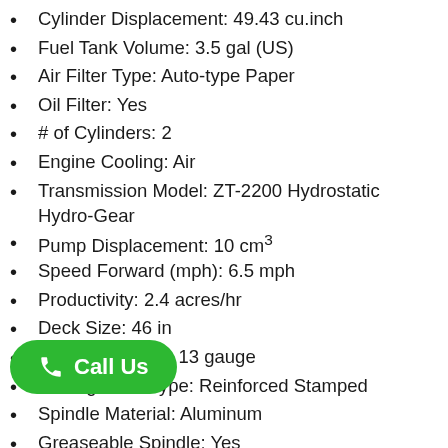Cylinder Displacement: 49.43 cu.inch
Fuel Tank Volume: 3.5 gal (US)
Air Filter Type: Auto-type Paper
Oil Filter: Yes
# of Cylinders: 2
Engine Cooling: Air
Transmission Model: ZT-2200 Hydrostatic Hydro-Gear
Pump Displacement: 10 cm³
Speed Forward (mph): 6.5 mph
Productivity: 2.4 acres/hr
Deck Size: 46 in
Deck Thickness: 13 gauge
Cutting Deck Type: Reinforced Stamped
Spindle Material: Aluminum
Greaseable Spindle: Yes
Blades: 2
…ed: 16600 fpm
…it: 1.5 - 4 inches
Blade Engagement: Electric